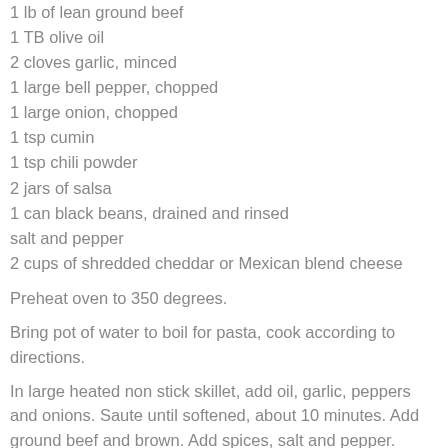1 lb of lean ground beef
1 TB olive oil
2 cloves garlic, minced
1 large bell pepper, chopped
1 large onion, chopped
1 tsp cumin
1 tsp chili powder
2 jars of salsa
1 can black beans, drained and rinsed
salt and pepper
2 cups of shredded cheddar or Mexican blend cheese
Preheat oven to 350 degrees.
Bring pot of water to boil for pasta, cook according to directions.
In large heated non stick skillet, add oil, garlic, peppers and onions. Saute until softened, about 10 minutes. Add ground beef and brown. Add spices, salt and pepper. Drain and add to a large bowl with black beans, salsa and pasta. Toss to combine.